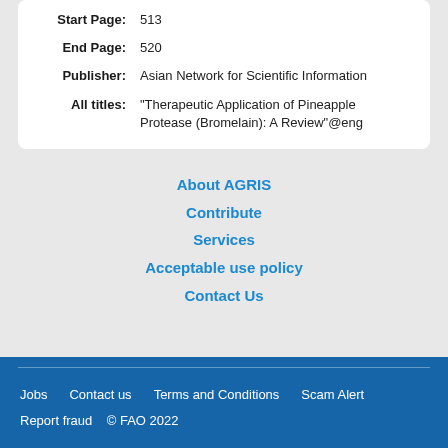| Start Page: | 513 |
| End Page: | 520 |
| Publisher: | Asian Network for Scientific Information |
| All titles: | "Therapeutic Application of Pineapple Protease (Bromelain): A Review"@eng |
About AGRIS
Contribute
Services
Acceptable use policy
Contact Us
Jobs   Contact us   Terms and Conditions   Scam Alert   Report fraud   © FAO 2022